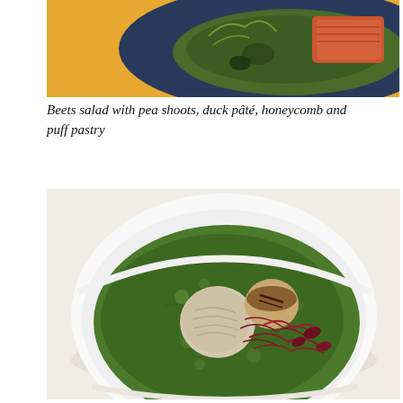[Figure (photo): Top portion of a dish — beets salad on a dark blue plate with pea shoots and puff pastry, partially cropped]
Beets salad with pea shoots, duck pâté, honeycomb and puff pastry
[Figure (photo): A white bowl containing green herb sauce (possibly spinach or pea purée) with seared scallops and purple/red microgreens on top, viewed from above on a white table]